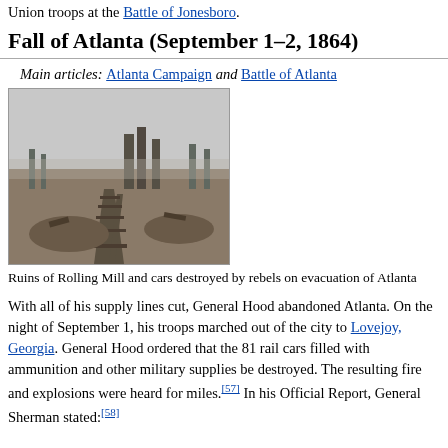Union troops at the Battle of Jonesboro.
Fall of Atlanta (September 1–2, 1864)
Main articles: Atlanta Campaign and Battle of Atlanta
[Figure (photo): Black and white historical photograph showing ruins of Rolling Mill and rail cars destroyed by rebels on evacuation of Atlanta. Railway tracks visible in foreground, damaged industrial structures and chimneys in background.]
Ruins of Rolling Mill and cars destroyed by rebels on evacuation of Atlanta
With all of his supply lines cut, General Hood abandoned Atlanta. On the night of September 1, his troops marched out of the city to Lovejoy, Georgia. General Hood ordered that the 81 rail cars filled with ammunition and other military supplies be destroyed. The resulting fire and explosions were heard for miles.[57] In his Official Report, General Sherman stated:[58]